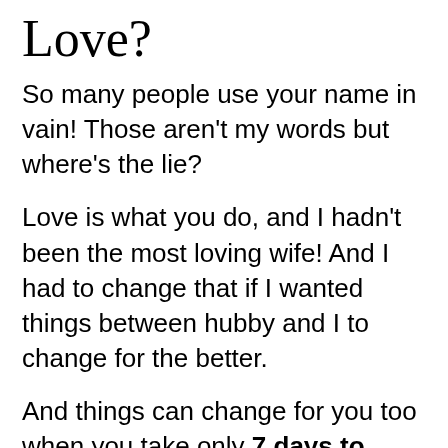Love?
So many people use your name in vain! Those aren't my words but where's the lie?
Love is what you do, and I hadn't been the most loving wife! And I had to change that if I wanted things between hubby and I to change for the better.
And things can change for you too when you take only 7 days to make